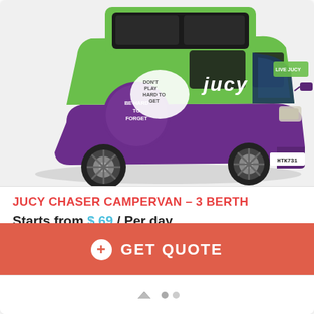[Figure (photo): Green and purple JUCY Chaser Campervan (3 berth), shown at an angle. The van has 'jucy' branding in white letters on the side, a purple lower body, and green upper body. Text on the side reads 'DON'T PLAY HARD TO GET' and 'BE HARD TO FORGET'. The front shows 'LIVE JUCY' logo. License plate HTK731 visible.]
JUCY CHASER CAMPERVAN – 3 BERTH
Starts from $ 69 / Per day
Petrol
Automatic
+ GET QUOTE